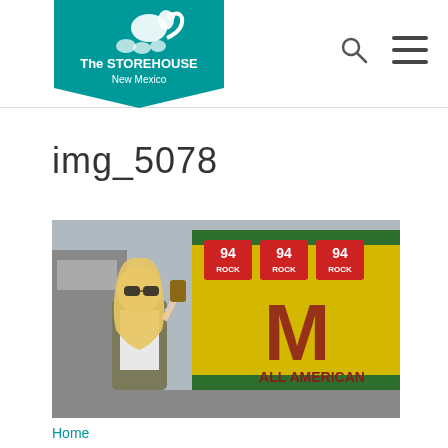[Figure (logo): The Storehouse New Mexico logo — teal pentagon/banner shape with white squirrel and text 'The STOREHOUSE New Mexico']
img_5078
[Figure (photo): A smiling blonde woman wearing sunglasses and an olive jacket holds up a can. In the background is a yellow and green truck with '94 ROCK' logos repeated three times and text 'ALL AMERICAN'.]
Home